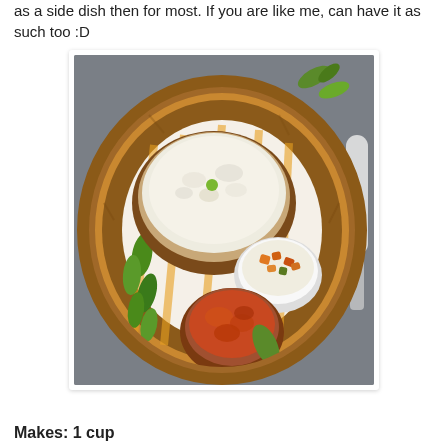as a side dish then for most. If you are like me, can have it as such too :D
[Figure (photo): Overhead view of a wicker basket containing a large clay bowl of white rice/upma, a small white bowl of mixed vegetable curry, and a small clay bowl of tomato-based curry, all on a yellow and white checked cloth, with green curry leaves on the side, set against a grey background.]
Makes: 1 cup